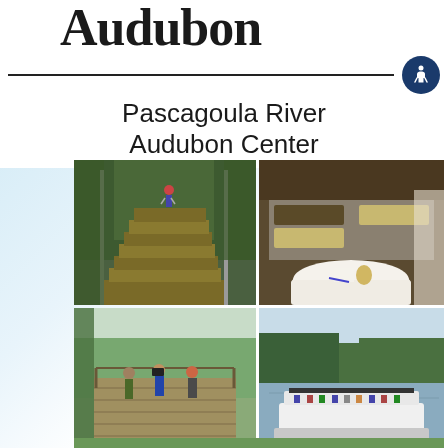Audubon
Pascagoula River Audubon Center
[Figure (photo): Wooden staircase with yellow painted steps leading up through green trees, person walking up in background]
[Figure (photo): Indoor event venue with picnic tables and a round white-clothed table in foreground with pen and decoration]
[Figure (photo): Group of people on wooden boardwalk with binoculars and cameras, birdwatching]
[Figure (photo): Tour boat on river with trees and green vegetation in background]
[Figure (photo): Green tree canopy view from below]
[Figure (photo): Water or river scene with blue tones]